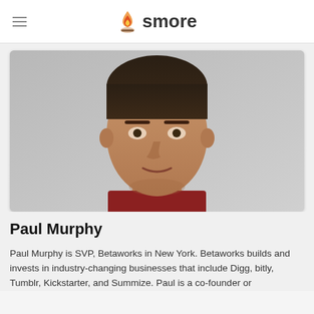smore
[Figure (photo): Headshot photo of Paul Murphy, a young man with dark hair, smiling slightly, wearing a dark red shirt, light gray background.]
Paul Murphy
Paul Murphy is SVP, Betaworks in New York. Betaworks builds and invests in industry-changing businesses that include Digg, bitly, Tumblr, Kickstarter, and Summize. Paul is a co-founder or operating partner of several web companies in Beta. Gio...